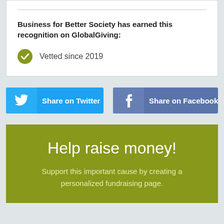Business for Better Society has earned this recognition on GlobalGiving:
Vetted since 2019
Share on Twitter
Share on Facebook
Help raise money!
Support this important cause by creating a personalized fundraising page.